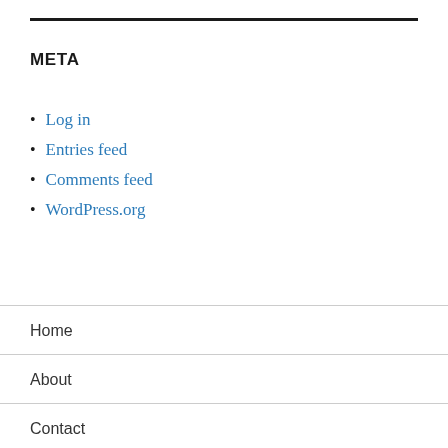META
Log in
Entries feed
Comments feed
WordPress.org
Home
About
Contact